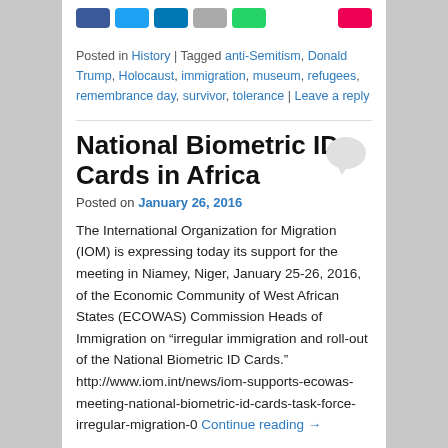Posted in History | Tagged anti-Semitism, Donald Trump, Holocaust, immigration, museum, refugees, remembrance day, survivor, tolerance | Leave a reply
National Biometric ID Cards in Africa
Posted on January 26, 2016
The International Organization for Migration (IOM) is expressing today its support for the meeting in Niamey, Niger, January 25-26, 2016, of the Economic Community of West African States (ECOWAS) Commission Heads of Immigration on “irregular immigration and roll-out of the National Biometric ID Cards.” http://www.iom.int/news/iom-supports-ecowas-meeting-national-biometric-id-cards-task-force-irregular-migration-0 Continue reading →